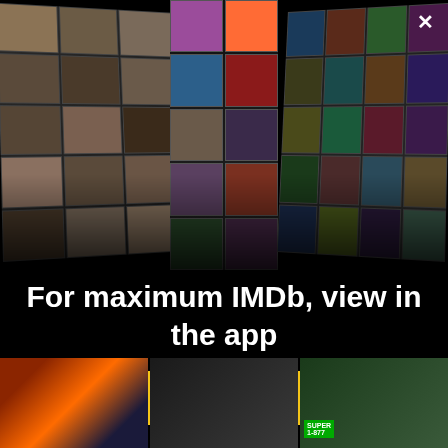[Figure (photo): IMDb app promotional banner showing a collage of actor photos on the left, movie/show posters on the right, arranged in a perspective 3D grid on a black background. A white X close button is in the top right corner.]
For maximum IMDb, view in the app
Get the app
[Figure (photo): Bottom row of three movie/show thumbnail images: a sci-fi/fantasy movie poster on the left, a dark robotic/mechanical image in the center, and a woman in a green-themed setting on the right with text 'SUPER' and '1-877'.]